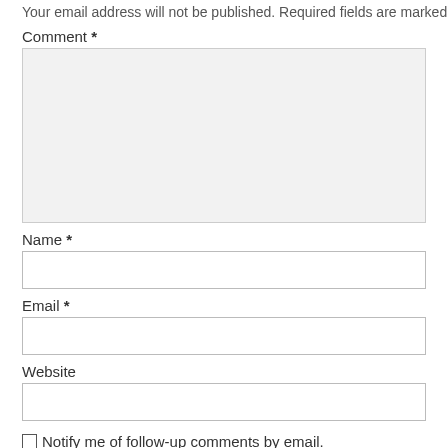Your email address will not be published. Required fields are marked *
Comment *
Name *
Email *
Website
Notify me of follow-up comments by email.
Notify me of new posts by email.
Submit